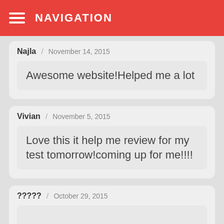NAVIGATION
Najla / November 14, 2015
Awesome website!Helped me a lot
Vivian / November 5, 2015
Love this it help me review for my test tomorrow!coming up for me!!!!
????? / October 29, 2015